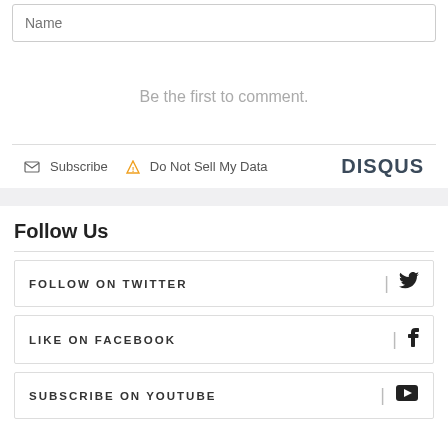Name
Be the first to comment.
Subscribe  Do Not Sell My Data  DISQUS
Follow Us
FOLLOW ON TWITTER
LIKE ON FACEBOOK
SUBSCRIBE ON YOUTUBE